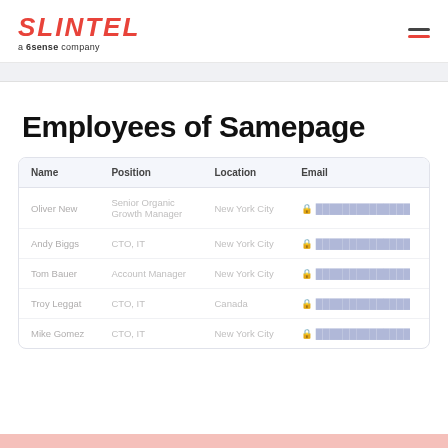SLINTEL a 6sense company
Employees of Samepage
| Name | Position | Location | Email |
| --- | --- | --- | --- |
| Oliver New | Senior Organic Growth Manager | New York City | [redacted] |
| Andy Biggs | CTO, IT | New York City | [redacted] |
| Tom Bauer | Account Manager | New York City | [redacted] |
| Troy Leggat | CTO, IT | Canada | [redacted] |
| Mike Gomez | CTO, IT | New York City | [redacted] |